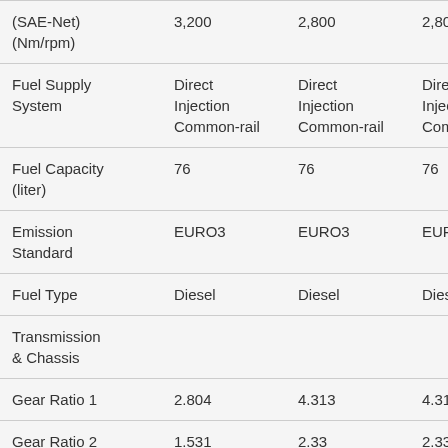|  | Col1 | Col2 | Col3 |
| --- | --- | --- | --- |
| (SAE-Net) (Nm/rpm) | 3,200 | 2,800 | 2,800 |
| Fuel Supply System | Direct Injection Common-rail | Direct Injection Common-rail | Direct Injection Common-rail |
| Fuel Capacity (liter) | 76 | 76 | 76 |
| Emission Standard | EURO3 | EURO3 | EURO3 |
| Fuel Type | Diesel | Diesel | Diesel |
| Transmission & Chassis |  |  |  |
| Gear Ratio 1 | 2.804 | 4.313 | 4.313 |
| Gear Ratio 2 | 1.531 | 2.33 | 2.33 |